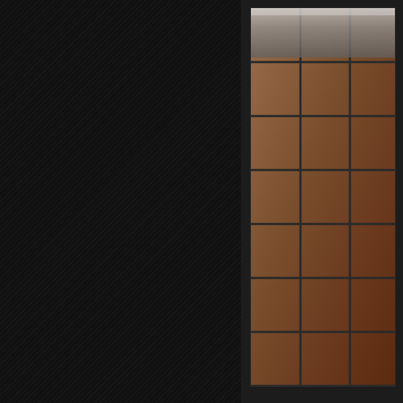[Figure (photo): Dark textured background with diagonal stripe pattern on left two-thirds of page]
[Figure (photo): Partial view of terracotta or clay floor tiles with brown/reddish tones, with a metallic/silver element visible at top edge, partially cut off on right side of page]
Add 1 tablespoon grou
[Figure (photo): Close-up photo showing what appears to be a face/eye with a bruise or discoloration, blurred/out of focus, partially visible at bottom right of page]